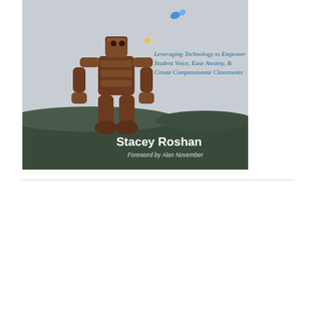[Figure (illustration): Book cover for a book by Stacey Roshan. Features a wooden robot figure on a grey landscape background. Text reads: 'Leveraging Technology to Empower Student Voice, Ease Anxiety, & Create Compassionate Classrooms'. Author: Stacey Roshan. Foreword by Alan November.]
[Figure (screenshot): Twitter/X widget showing 'Tweets from @buddyxo' with a Follow button. Below is a retweet by Stacey Roshan of a tweet by Monica Burns, E... @Cla... Aug 27. Tweet text: 'From @EdSurge & @buddyxo pencil thumbsdown. "We still give weight to the ideas of those who...']